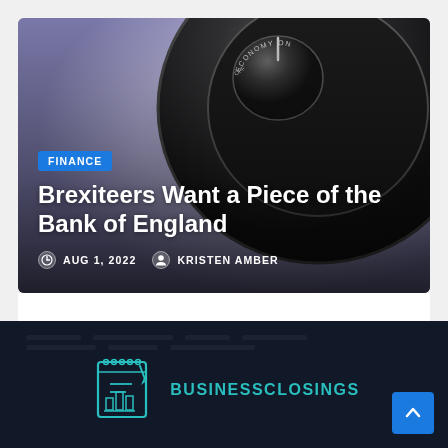[Figure (photo): Close-up photo of a black rotary dial/knob with 'ECONOMY ON' text visible, on a purple/lavender background. An article thumbnail image.]
FINANCE
Brexiteers Want a Piece of the Bank of England
AUG 1, 2022   KRISTEN AMBER
[Figure (logo): BusinessClosings website logo: a teal/cyan outline icon of a notebook with a pen, next to the text BUSINESSCLOSINGS in teal on dark navy background.]
[Figure (other): Blue scroll-to-top button with an upward arrow chevron, positioned in bottom right corner.]